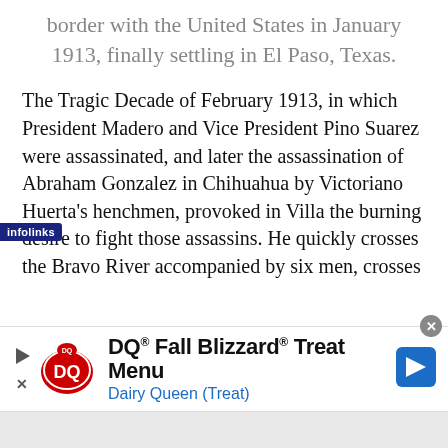border with the United States in January 1913, finally settling in El Paso, Texas.
The Tragic Decade of February 1913, in which President Madero and Vice President Pino Suarez were assassinated, and later the assassination of Abraham Gonzalez in Chihuahua by Victoriano Huerta's henchmen, provoked in Villa the burning desire to fight those assassins. He quickly crosses the Bravo River accompanied by six men, crosses
[Figure (other): Dairy Queen advertisement banner: 'DQ® Fall Blizzard® Treat Menu — Dairy Queen (Treat)' with DQ logo, play button, close button, and infolinks badge]